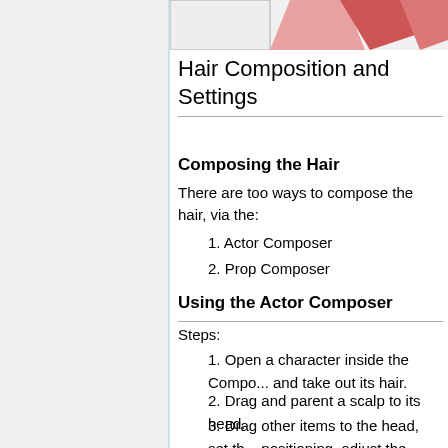[Figure (illustration): Partial view of a character illustration with pink/red tones, cropped at top of page]
Hair Composition and Settings
Composing the Hair
There are too ways to compose the hair, via the:
1. Actor Composer
2. Prop Composer
Using the Actor Composer
Steps:
1. Open a character inside the Composer and take out its hair.
2. Drag and parent a scalp to its head.
3. Drag other items to the head, set the positioning, adjust the layers, etc.